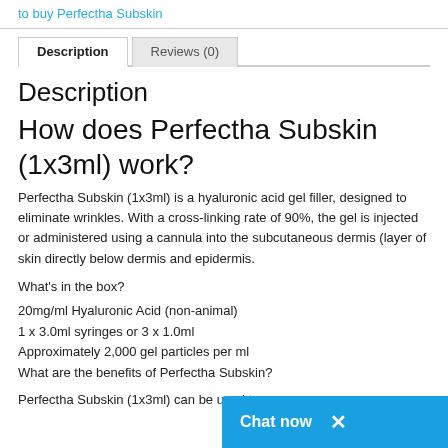to buy Perfectha Subskin
Description | Reviews (0)
Description
How does Perfectha Subskin (1x3ml) work?
Perfectha Subskin (1x3ml) is a hyaluronic acid gel filler, designed to eliminate wrinkles. With a cross-linking rate of 90%, the gel is injected or administered using a cannula into the subcutaneous dermis (layer of skin directly below dermis and epidermis.
What's in the box?
20mg/ml Hyaluronic Acid (non-animal)
1 x 3.0ml syringes or 3 x 1.0ml
Approximately 2,000 gel particles per ml
What are the benefits of Perfectha Subskin?
Perfectha Subskin (1x3ml) can be used to e…